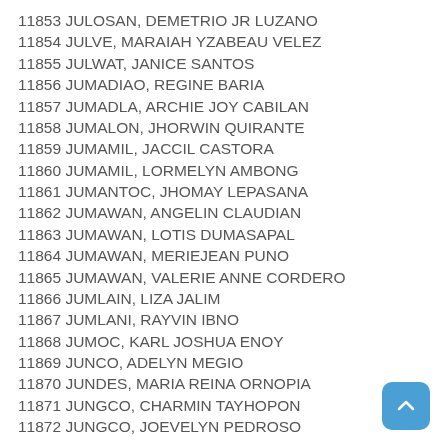11853 JULOSAN, DEMETRIO JR LUZANO
11854 JULVE, MARAIAH YZABEAU VELEZ
11855 JULWAT, JANICE SANTOS
11856 JUMADIAO, REGINE BARIA
11857 JUMADLA, ARCHIE JOY CABILAN
11858 JUMALON, JHORWIN QUIRANTE
11859 JUMAMIL, JACCIL CASTORA
11860 JUMAMIL, LORMELYN AMBONG
11861 JUMANTOC, JHOMAY LEPASANA
11862 JUMAWAN, ANGELIN CLAUDIAN
11863 JUMAWAN, LOTIS DUMASAPAL
11864 JUMAWAN, MERIEJEAN PUNO
11865 JUMAWAN, VALERIE ANNE CORDERO
11866 JUMLAIN, LIZA JALIM
11867 JUMLANI, RAYVIN IBNO
11868 JUMOC, KARL JOSHUA ENOY
11869 JUNCO, ADELYN MEGIO
11870 JUNDES, MARIA REINA ORNOPIA
11871 JUNGCO, CHARMIN TAYHOPON
11872 JUNGCO, JOEVELYN PEDROSO